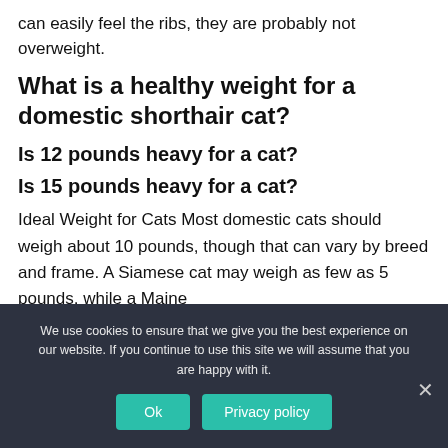can easily feel the ribs, they are probably not overweight.
What is a healthy weight for a domestic shorthair cat?
Is 12 pounds heavy for a cat?
Is 15 pounds heavy for a cat?
Ideal Weight for Cats Most domestic cats should weigh about 10 pounds, though that can vary by breed and frame. A Siamese cat may weigh as few as 5 pounds, while a Maine
We use cookies to ensure that we give you the best experience on our website. If you continue to use this site we will assume that you are happy with it.